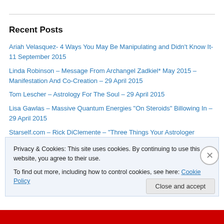Recent Posts
Ariah Velasquez- 4 Ways You May Be Manipulating and Didn’t Know It- 11 September 2015
Linda Robinson – Message From Archangel Zadkiel* May 2015 – Manifestation And Co-Creation – 29 April 2015
Tom Lescher – Astrology For The Soul – 29 April 2015
Lisa Gawlas – Massive Quantum Energies “On Steroids” Billowing In – 29 April 2015
Starself.com – Rick DiClemente – “Three Things Your Astrologer Should Give You” – Volume 112, Starself Newsletter For April, 2015 – 29 April 2015
Privacy & Cookies: This site uses cookies. By continuing to use this website, you agree to their use.
To find out more, including how to control cookies, see here: Cookie Policy
Close and accept